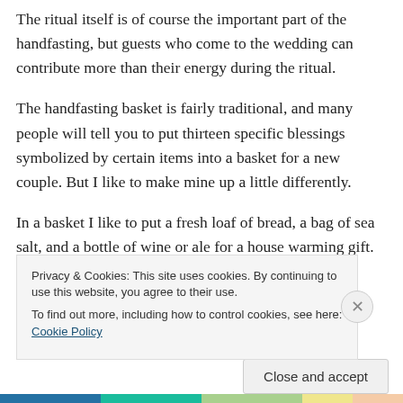The ritual itself is of course the important part of the handfasting, but guests who come to the wedding can contribute more than their energy during the ritual.
The handfasting basket is fairly traditional, and many people will tell you to put thirteen specific blessings symbolized by certain items into a basket for a new couple. But I like to make mine up a little differently.
In a basket I like to put a fresh loaf of bread, a bag of sea salt, and a bottle of wine or ale for a house warming gift.
Privacy & Cookies: This site uses cookies. By continuing to use this website, you agree to their use.
To find out more, including how to control cookies, see here: Cookie Policy